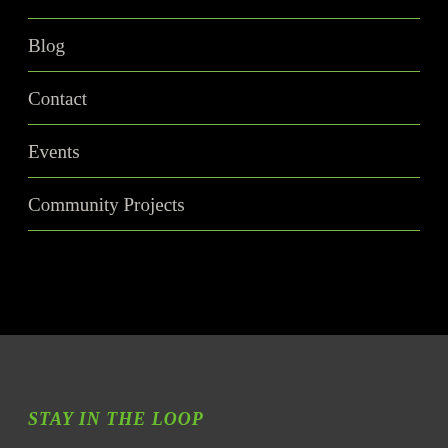Blog
Contact
Events
Community Projects
STAY IN THE LOOP